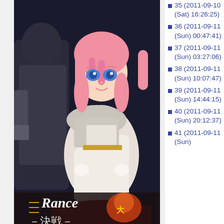[Figure (illustration): Anime-style illustration of a young woman with pink hair and blue eyes wearing a white outfit, with game title 'Rance – Decisive Battle' in Japanese below. Dark background with another figure visible.]
edit
171045
5
9
22
monobook
select a skin
35 (2011-09-10 (Sat) 16:26:25)
36 (2011-09-11 (Sun) 00:47:41)
37 (2011-09-11 (Sun) 03:27:06)
38 (2011-09-11 (Sun) 10:07:47)
39 (2011-09-11 (Sun) 14:44:15)
40 (2011-09-11 (Sun) 20:12:37)
41 (2011-09-11 (Sun)